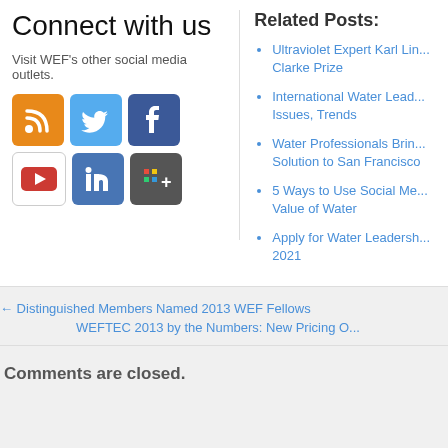Connect with us
Visit WEF's other social media outlets.
[Figure (other): Social media icons: RSS, Twitter, Facebook, YouTube, LinkedIn, Google+]
Related Posts:
Ultraviolet Expert Karl Lin... Clarke Prize
International Water Lead... Issues, Trends
Water Professionals Brin... Solution to San Francisco
5 Ways to Use Social Me... Value of Water
Apply for Water Leadersh... 2021
← Distinguished Members Named 2013 WEF Fellows
WEFTEC 2013 by the Numbers: New Pricing O...
Comments are closed.